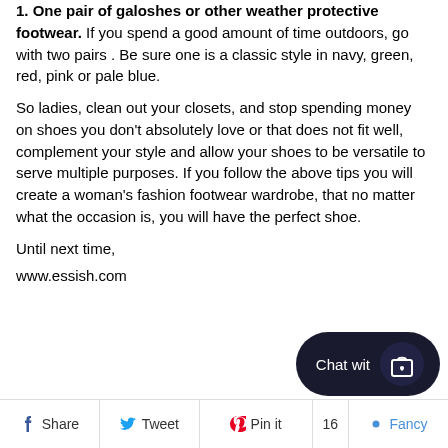1. One pair of galoshes or other weather protective footwear. If you spend a good amount of time outdoors, go with two pairs . Be sure one is a classic style in navy, green, red, pink or pale blue.
So ladies, clean out your closets, and stop spending money on shoes you don't absolutely love or that does not fit well, complement your style and allow your shoes to be versatile to serve multiple purposes. If you follow the above tips you will create a woman's fashion footwear wardrobe, that no matter what the occasion is, you will have the perfect shoe.
Until next time,
www.essish.com
[Figure (other): Chat widget button with shopping bag icon, labeled 'Chat wit']
[Figure (other): Social sharing bar with Share (Facebook), Tweet (Twitter), Pin it (Pinterest) with count 16, and Fancy buttons]